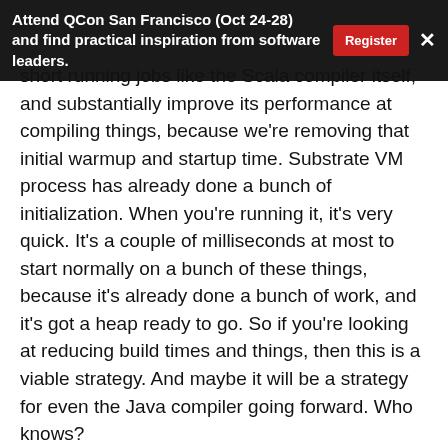Attend QCon San Francisco (Oct 24-28) and find practical inspiration from software leaders. | Register | ×
short running jobs like the Scala compiler itself, and substantially improve its performance at compiling things, because we're removing that initial warmup and startup time. Substrate VM process has already done a bunch of initialization. When you're running it, it's very quick. It's a couple of milliseconds at most to start normally on a bunch of these things, because it's already done a bunch of work, and it's got a heap ready to go. So if you're looking at reducing build times and things, then this is a viable strategy. And maybe it will be a strategy for even the Java compiler going forward. Who knows?
We're also getting excellent performance out of the other language implementations. We're comparing to other JVM based systems for this, and certainly